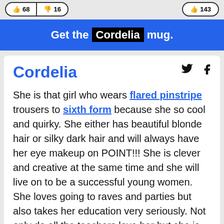[Figure (other): Top bar with thumbs up and thumbs down vote buttons on the left, and a button on the right (partially visible)]
Get the Cordelia mug.
Cordelia
She is that girl who wears flared pinstripe trousers to sixth form because she so cool and quirky. She either has beautiful blonde hair or silky dark hair and will always have her eye makeup on POINT!!! She is clever and creative at the same time and she will live on to be a successful young women. She loves going to raves and parties but also takes her education very seriously. Not only do all the teachers love her but she is popular with